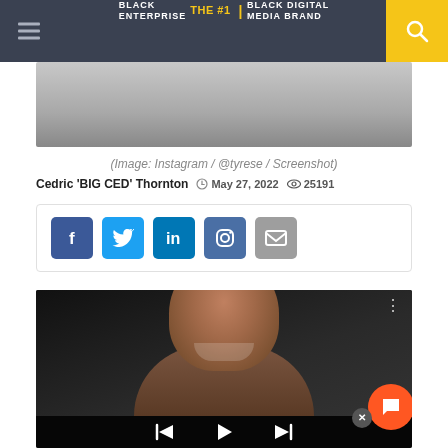BLACK ENTERPRISE THE #1 BLACK DIGITAL MEDIA BRAND
[Figure (photo): Partial image at top, gray/sky background, cropped]
(Image: Instagram / @tyrese / Screenshot)
Cedric 'BIG CED' Thornton  ⏱ May 27, 2022  👁 25191
[Figure (infographic): Social sharing buttons: Facebook, Twitter, LinkedIn, Instagram, Email]
[Figure (photo): Video player showing a man smiling, with playback controls at bottom]